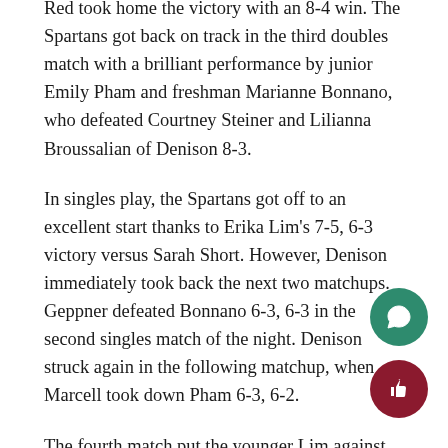Red took home the victory with an 8-4 win. The Spartans got back on track in the third doubles match with a brilliant performance by junior Emily Pham and freshman Marianne Bonnano, who defeated Courtney Steiner and Lilianna Broussalian of Denison 8-3.
In singles play, the Spartans got off to an excellent start thanks to Erika Lim's 7-5, 6-3 victory versus Sarah Short. However, Denison immediately took back the next two matchups. Geppner defeated Bonnano 6-3, 6-3 in the second singles match of the night. Denison struck again in the following matchup, when Marcell took down Pham 6-3, 6-2.
The fourth match put the younger Lim against Denison's Westenberger. After winning the first set 6-4, Lim fell short as Westenberger tied the set at one apiece with her 7-5 victory; however, Lim would seal the deal with a 6-3 win.
Evers showed off her experience with 6-4, 6-2 victory